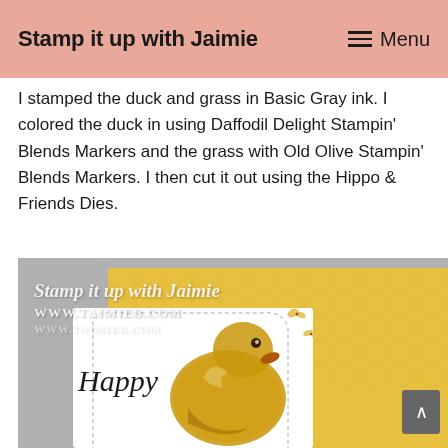Stamp it up with Jaimie   ≡ Menu
I stamped the duck and grass in Basic Gray ink. I colored the duck in using Daffodil Delight Stampin' Blends Markers and the grass with Old Olive Stampin' Blends Markers. I then cut it out using the Hippo & Friends Dies.
[Figure (photo): A handmade greeting card with a yellow background and a die-cut white panel featuring a fluffy yellow duck looking up at butterflies. The card has 'Happy' written in script at the bottom. The watermark 'Stamp it up with Jaimie / WWW.TAIMIEB.COM' is visible in the upper left.]